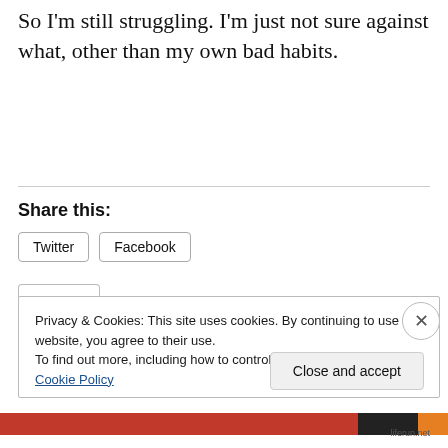So I'm still struggling. I'm just not sure against what, other than my own bad habits.
Share this:
Twitter  Facebook
Privacy & Cookies: This site uses cookies. By continuing to use this website, you agree to their use.
To find out more, including how to control cookies, see here: Cookie Policy
Close and accept